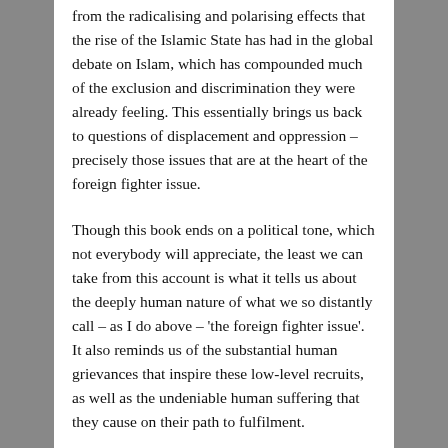from the radicalising and polarising effects that the rise of the Islamic State has had in the global debate on Islam, which has compounded much of the exclusion and discrimination they were already feeling. This essentially brings us back to questions of displacement and oppression – precisely those issues that are at the heart of the foreign fighter issue.
Though this book ends on a political tone, which not everybody will appreciate, the least we can take from this account is what it tells us about the deeply human nature of what we so distantly call – as I do above – 'the foreign fighter issue'. It also reminds us of the substantial human grievances that inspire these low-level recruits, as well as the undeniable human suffering that they cause on their path to fulfilment.